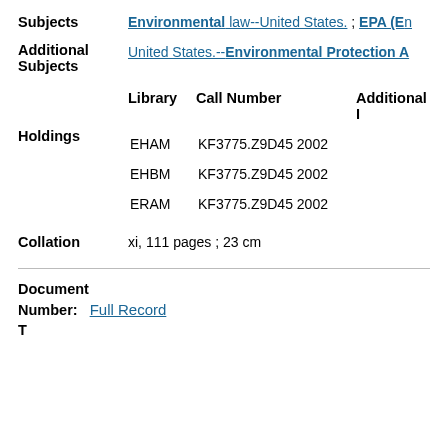Subjects: Environmental law--United States. ; EPA (En...
Additional Subjects: United States.--Environmental Protection A...
| Library | Call Number | Additional I |
| --- | --- | --- |
| EHAM | KF3775.Z9D45 2002 |  |
| EHBM | KF3775.Z9D45 2002 |  |
| ERAM | KF3775.Z9D45 2002 |  |
Collation: xi, 111 pages ; 23 cm
Document Number: Full Record
T...